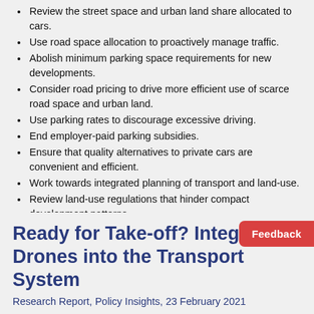Review the street space and urban land share allocated to cars.
Use road space allocation to proactively manage traffic.
Abolish minimum parking space requirements for new developments.
Consider road pricing to drive more efficient use of scarce road space and urban land.
Use parking rates to discourage excessive driving.
End employer-paid parking subsidies.
Ensure that quality alternatives to private cars are convenient and efficient.
Work towards integrated planning of transport and land-use.
Review land-use regulations that hinder compact development patterns.
Ready for Take-off? Integrating Drones into the Transport System
Research Report, Policy Insights, 23 February 2021